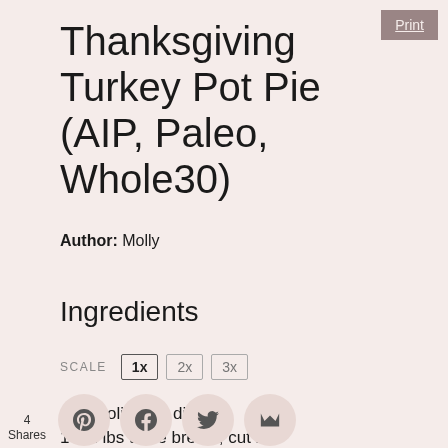Thanksgiving Turkey Pot Pie (AIP, Paleo, Whole30)
Author: Molly
Ingredients
SCALE 1x 2x 3x
4 Tbs olive oil, divided
1 1/2 lbs turkey breast, cut into 1" pieces